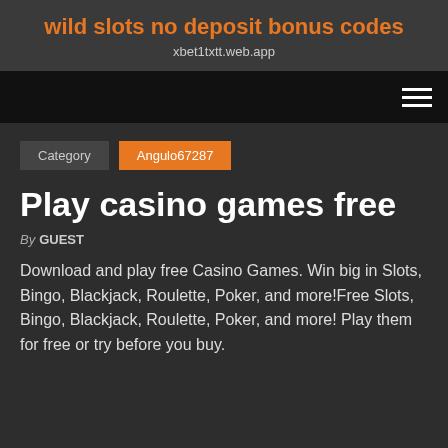wild slots no deposit bonus codes
xbet1txtt.web.app
[Figure (other): Navigation bar with hamburger menu icon on dark/black background]
Category   Angulo67287
Play casino games free
By GUEST
Download and play free Casino Games. Win big in Slots, Bingo, Blackjack, Roulette, Poker, and more!Free Slots, Bingo, Blackjack, Roulette, Poker, and more! Play them for free or try before you buy.